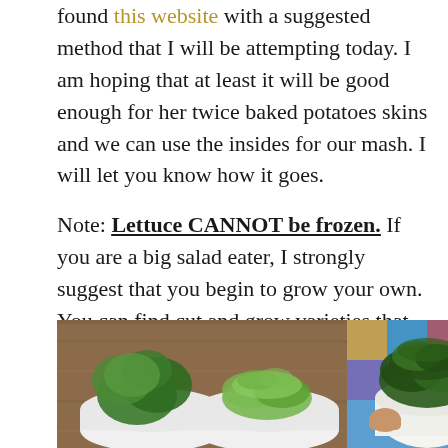found this website with a suggested method that I will be attempting today. I am hoping that at least it will be good enough for her twice baked potatoes skins and we can use the insides for our mash. I will let you know how it goes.

Note: Lettuce CANNOT be frozen. If you are a big salad eater, I strongly suggest that you begin to grow your own. You can find cut and grow varieties that can feed your family for almost a month.
[Figure (photo): Two white bowls containing green leafy lettuce and other leafy greens on a wooden surface, alongside a partial third bowl]
[Figure (photo): A person holding a white bag filled with dark leafy greens over a colorful patterned surface]